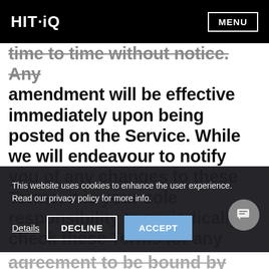HIT·iQ  MENU
time to time without notice. Any amendment will be effective immediately upon being posted on the Service. While we will endeavour to notify you of any changes to these Terms, it is your sole responsibility to periodically check these Terms for any changes. If you do not agree with any of the changes to these
This website uses cookies to enhance the user experience. Read our privacy policy for more info.
Details  DECLINE  ACCEPT
agreement to be bound by these Terms,